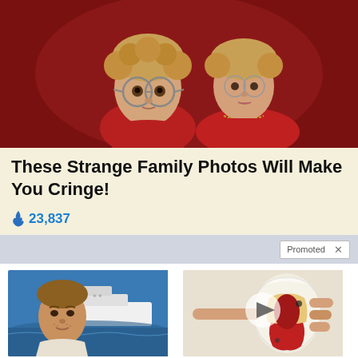[Figure (photo): Vintage family portrait photo showing a young child with oversized glasses in the foreground and an older child/person in red clothing behind them, against a dark red background]
These Strange Family Photos Will Make You Cringe!
🔥 23,837
[Figure (other): Promoted content bar with 'Promoted X' label]
[Figure (photo): Photo of a male celebrity (Leonardo DiCaprio) in front of a yacht on blue water]
They're How Rich? See The Celebrities With The Highest Net Worth
🔥 811
[Figure (illustration): Medical illustration of a tooth cross-section showing decay, with a hand holding/squeezing it, and a play button overlay]
Do This Every Night To Reverse Tooth Decay And Gum Disease — You Won't Believe The Results